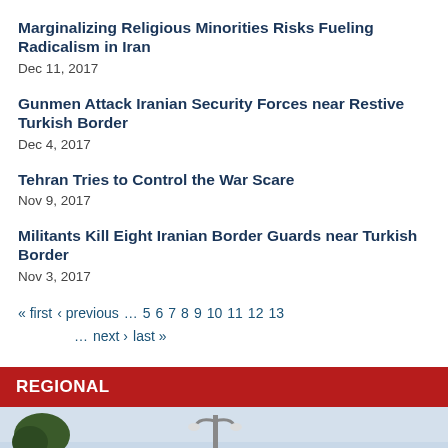Marginalizing Religious Minorities Risks Fueling Radicalism in Iran
Dec 11, 2017
Gunmen Attack Iranian Security Forces near Restive Turkish Border
Dec 4, 2017
Tehran Tries to Control the War Scare
Nov 9, 2017
Militants Kill Eight Iranian Border Guards near Turkish Border
Nov 3, 2017
« first  ‹ previous  …  5  6  7  8  9  10  11  12  13  …  next ›  last »
REGIONAL
[Figure (photo): Outdoor scene with a lamp post and tree, sky in background]